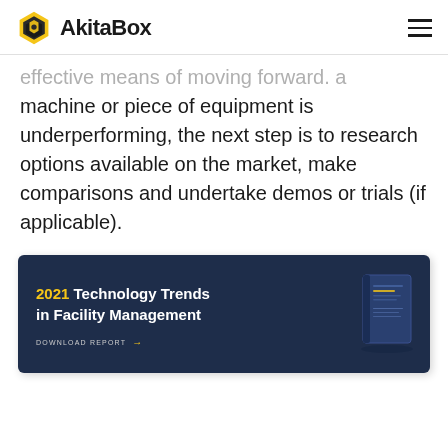AkitaBox
effective means of moving forward. a machine or piece of equipment is underperforming, the next step is to research options available on the market, make comparisons and undertake demos or trials (if applicable).
[Figure (infographic): 2021 Technology Trends in Facility Management banner with a book graphic and a DOWNLOAD REPORT call to action.]